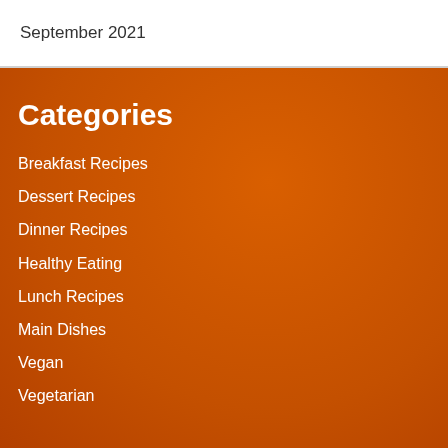September 2021
Categories
Breakfast Recipes
Dessert Recipes
Dinner Recipes
Healthy Eating
Lunch Recipes
Main Dishes
Vegan
Vegetarian